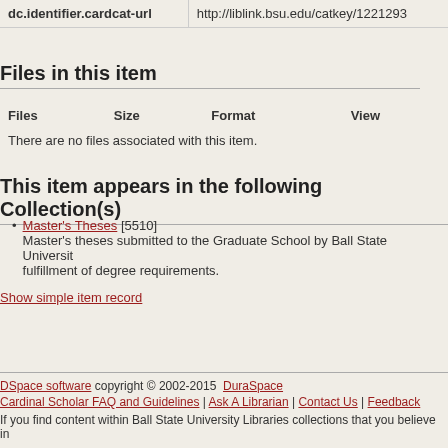| dc.description.degree | Thesis (M.S.) |
| --- | --- |
| dc.identifier.cardcat-url | http://liblink.bsu.edu/catkey/1221293 |
Files in this item
| Files | Size | Format | View |
| --- | --- | --- | --- |
| There are no files associated with this item. |  |  |  |
This item appears in the following Collection(s)
Master's Theses [5510] Master's theses submitted to the Graduate School by Ball State University in fulfillment of degree requirements.
Show simple item record
DSpace software copyright © 2002-2015 DuraSpace | Cardinal Scholar FAQ and Guidelines | Ask A Librarian | Contact Us | Feedback | If you find content within Ball State University Libraries collections that you believe in